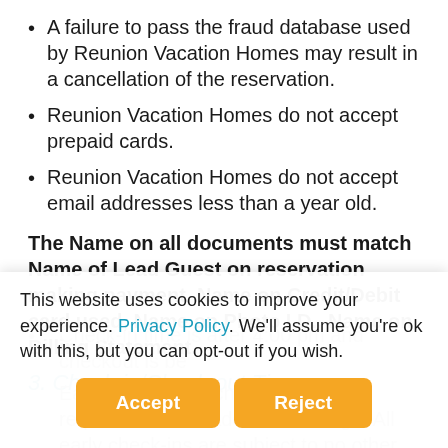A failure to pass the fraud database used by Reunion Vacation Homes may result in a cancellation of the reservation.
Reunion Vacation Homes do not accept prepaid cards.
Reunion Vacation Homes do not accept email addresses less than a year old.
The Name on all documents must match Name of Lead Guest on reservation making payment, Name on Credit/Debit card used, Name on Photo I.D., Name on Billing Statement.
3. Check-in/Check-out Times
Check-in time is after 4:00 pm and ...
Early check-in or checkout can be requested for an additional charge. All early check-ins are subject to no other reservations in the property at the
This website uses cookies to improve your experience. Privacy Policy. We'll assume you're ok with this, but you can opt-out if you wish.